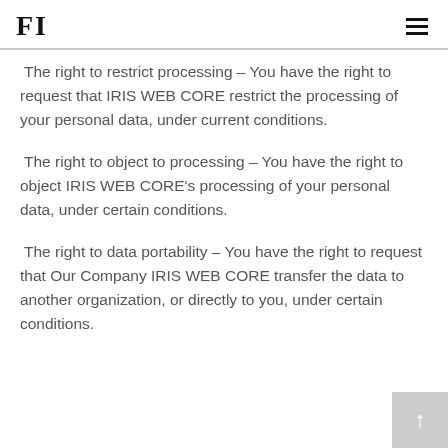FI
The right to restrict processing – You have the right to request that IRIS WEB CORE restrict the processing of your personal data, under current conditions.
The right to object to processing – You have the right to object IRIS WEB CORE's processing of your personal data, under certain conditions.
The right to data portability – You have the right to request that Our Company IRIS WEB CORE transfer the data to another organization, or directly to you, under certain conditions.